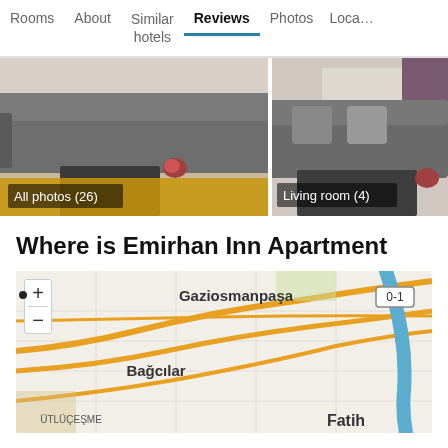Rooms | About | Similar hotels | Reviews | Photos | Loca…
[Figure (photo): Hotel room photo showing a grey sofa and orange rug, labeled 'All photos (26)']
[Figure (photo): Hotel living room photo showing a grey sofa, labeled 'Living room (4)']
Where is Emirhan Inn Apartment
[Figure (map): Map showing Istanbul area with Gaziosmanpaşa, Bağcılar, ÜTLÜÇEŞME, and Fatih neighborhoods, with zoom controls]